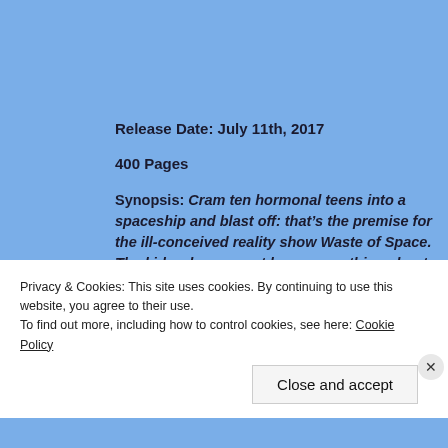Release Date: July 11th, 2017
400 Pages
Synopsis: Cram ten hormonal teens into a spaceship and blast off: that’s the premise for the ill-conceived reality show Waste of Space. The kids who are cast know everything about drama– and nothing about the fact that the production is
Privacy & Cookies: This site uses cookies. By continuing to use this website, you agree to their use.
To find out more, including how to control cookies, see here: Cookie Policy
Close and accept